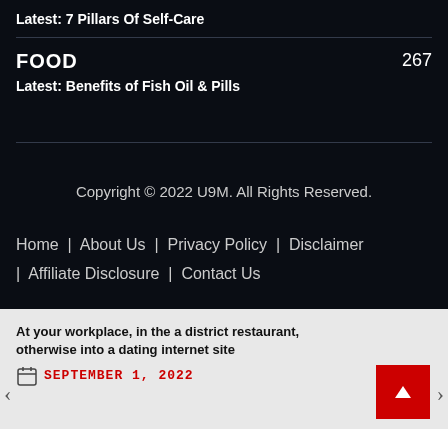Latest: 7 Pillars Of Self-Care
FOOD
267
Latest: Benefits of Fish Oil & Pills
Copyright © 2022 U9M. All Rights Reserved.
Home | About Us | Privacy Policy | Disclaimer | Affiliate Disclosure | Contact Us
At your workplace, in the a district restaurant, otherwise into a dating internet site
SEPTEMBER 1, 2022